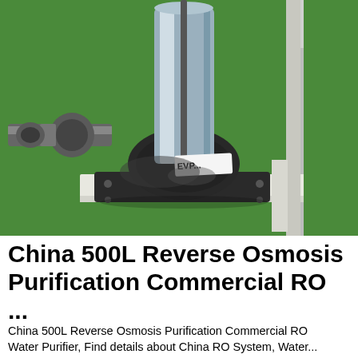[Figure (photo): Close-up photo of a water pump component — a black cast iron pump base/elbow fitting with a stainless steel cylindrical pump motor mounted on top, connected to metal piping on the left side, set on a white frame against a green background. A white label reading 'EVP...' is visible on the fitting.]
China 500L Reverse Osmosis Purification Commercial RO ...
China 500L Reverse Osmosis Purification Commercial RO Water Purifier, Find details about China RO System, Water...